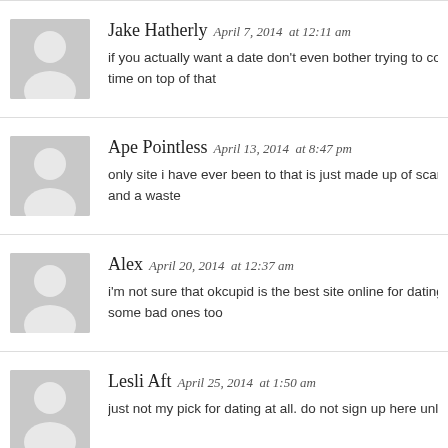Jake Hatherly April 7, 2014 at 12:11 am
if you actually want a date don't even bother trying to compare this si… time on top of that
Ape Pointless April 13, 2014 at 8:47 pm
only site i have ever been to that is just made up of scams. just pass t… and a waste
Alex April 20, 2014 at 12:37 am
i'm not sure that okcupid is the best site online for dating and such b… some bad ones too
Lesli Aft April 25, 2014 at 1:50 am
just not my pick for dating at all. do not sign up here unless you enjoy…